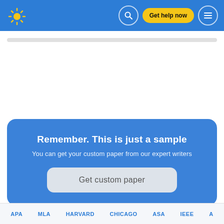[Figure (screenshot): Website header with blue background, yellow sun logo on left, search icon, 'Get help now' yellow button, and hamburger menu icon on right]
[Figure (other): Gray rounded rectangle bar below header, likely a search bar or breadcrumb placeholder]
Remember. This is just a sample
You can get your custom paper from our expert writers
Get custom paper
APA   MLA   HARVARD   CHICAGO   ASA   IEEE   A